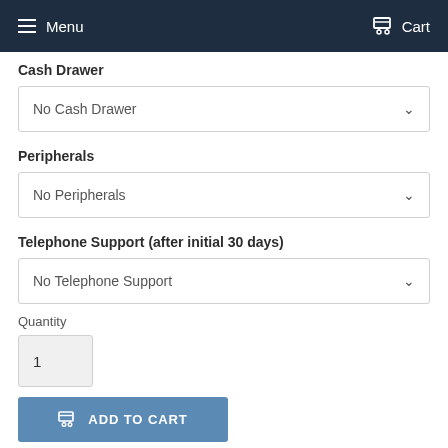Menu   Cart
Cash Drawer
No Cash Drawer
Peripherals
No Peripherals
Telephone Support (after initial 30 days)
No Telephone Support
Quantity
1
ADD TO CART